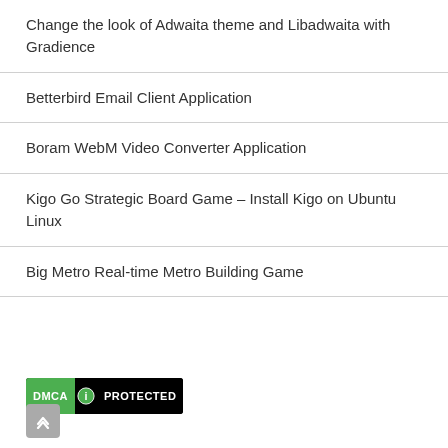Change the look of Adwaita theme and Libadwaita with Gradience
Betterbird Email Client Application
Boram WebM Video Converter Application
Kigo Go Strategic Board Game – Install Kigo on Ubuntu Linux
Big Metro Real-time Metro Building Game
[Figure (logo): DMCA Protected badge with green and black background]
[Figure (other): Scroll to top button with upward chevron arrow]